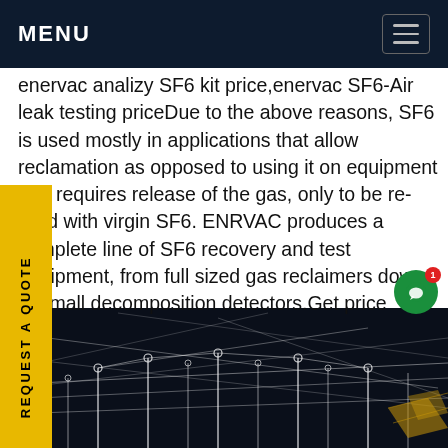MENU
enervac analizy SF6 kit price,enervac SF6-Air leak testing priceDue to the above reasons, SF6 is used mostly in applications that allow reclamation as opposed to using it on equipment that requires release of the gas, only to be re-filled with virgin SF6. ENERVAC produces a complete line of SF6 recovery and test equipment, from full sized gas reclaimers down to small decomposition detectors.Get price
[Figure (photo): Industrial electrical substation or high-voltage equipment facility shown in a dark, X-ray or wireframe style rendering with white structural lines and equipment on a dark background, with a yellow geometric logo watermark in the bottom right corner.]